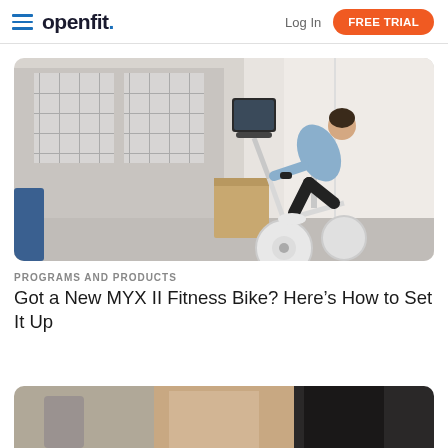openfit. | Log In | FREE TRIAL
[Figure (photo): Woman riding a MYX II stationary fitness bike in a bright home room near windows]
PROGRAMS AND PRODUCTS
Got a New MYX II Fitness Bike? Here’s How to Set It Up
[Figure (photo): Partial bottom image showing exercise equipment and legs, cropped]